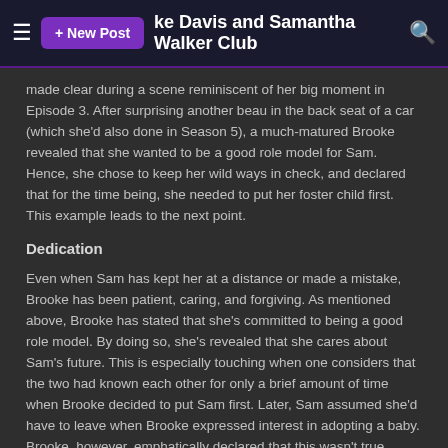+ New Post  [Brooke Davis and Samantha Walker Club]  [search]
made clear during a scene reminiscent of her big moment in Episode 3. After surprising another beau in the back seat of a car (which she'd also done in Season 5), a much-matured Brooke revealed that she wanted to be a good role model for Sam. Hence, she chose to keep her wild ways in check, and declared that for the time being, she needed to put her foster child first. This example leads to the next point.
Dedication
Even when Sam has kept her at a distance or made a mistake, Brooke has been patient, caring, and forgiving. As mentioned above, Brooke has stated that she's committed to being a good role model. By doing so, she's revealed that she cares about Sam's future. This is especially touching when one considers that the two had known each other for only a brief amount of time when Brooke decided to put Sam first. Later, Sam assumed she'd have to leave when Brooke expressed interest in adopting a baby. Brooke, however, emphatically declared that this wasn't true, reaffirming that her home was now Sam's home. This led to the first hug between the two.
Bonding Moments